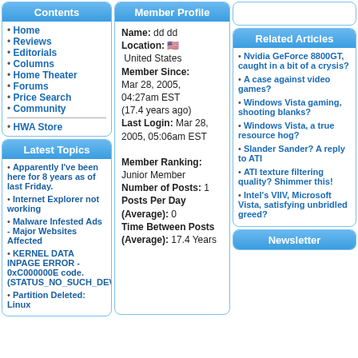Contents
Home
Reviews
Editorials
Columns
Home Theater
Forums
Price Search
Community
HWA Store
Latest Topics
Apparently I've been here for 8 years as of last Friday.
Internet Explorer not working
Malware Infested Ads - Major Websites Affected
KERNEL DATA INPAGE ERROR - 0xC000000E code. (STATUS_NO_SUCH_DEVICE)
Partition Deleted: Linux
Member Profile
Name: dd dd
Location: 🇺🇸 United States
Member Since: Mar 28, 2005, 04:27am EST (17.4 years ago)
Last Login: Mar 28, 2005, 05:06am EST
Member Ranking: Junior Member
Number of Posts: 1
Posts Per Day (Average): 0
Time Between Posts (Average): 17.4 Years
Related Articles
Nvidia GeForce 8800GT, caught in a bit of a crysis?
A case against video games?
Windows Vista gaming, shooting blanks?
Windows Vista, a true resource hog?
Slander Sander? A reply to ATI
ATI texture filtering quality? Shimmer this!
Intel's VIIV, Microsoft Vista, satisfying unbridled greed?
Newsletter